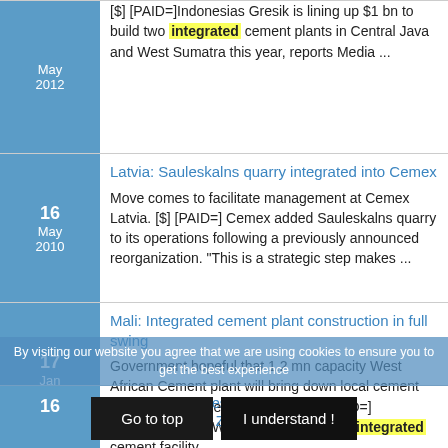[$] [PAID=]Indonesias Gresik is lining up $1 bn to build two integrated cement plants in Central Java and West Sumatra this year, reports Media ...
Latvia: Sauleskalns quarry integrated into Cemex
Move comes to facilitate management at Cemex Latvia. [$] [PAID=] Cemex added Sauleskalns quarry to its operations following a previously announced reorganization. "This is a strategic step makes ...
Mali: Integrated cement plant construction in full swing
Government hopeful that 1.2 mn capacity West African Cement plant will bring down local cement prices, spur domestic demand. [$] [PAID=] Construction on West African Cements integrated cement facility ...
ANDRITZ receives order from Papeiera Guipuzcoana de Zicuñaga
By visiting our website you agree that we are using cookies to ensure you to get the best experience
Go to top
I understand !